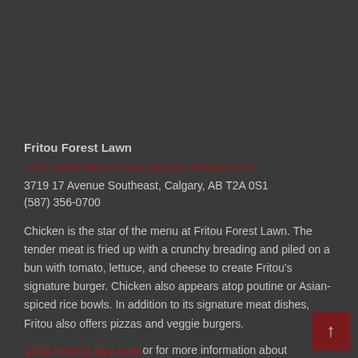Fritou Forest Lawn
https://www.fritouchicken-pizzaforestlawn.com/
3719 17 Avenue Southeast, Calgary, AB T2A 0S1
(587) 356-0700
Chicken is the star of the menu at Fritou Forest Lawn. The tender meat is fried up with a crunchy breading and piled on a bun with tomato, lettuce, and cheese to create Fritou’s signature burger. Chicken also appears atop poutine or Asian-spiced rice bowls. In addition to its signature meat dishes, Fritou also offers pizzas and veggie burgers.
Click here to buy now or for more information about